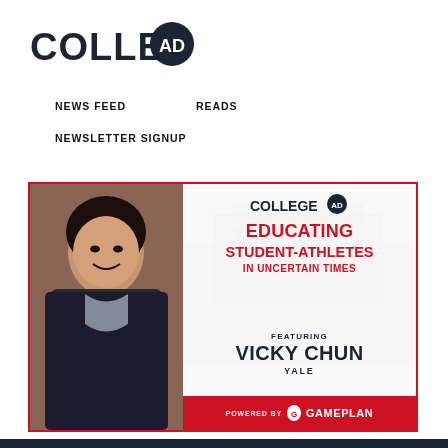COLLEGE AD
NEWS FEED   READS
NEWSLETTER SIGNUP
[Figure (illustration): Feature card with photo of Vicky Chun on left, Yale stadium background on right panel with text: COLLEGE AD, EDUCATING STUDENT-ATHLETES IN UNCERTAIN TIMES, FEATURING VICKY CHUN, YALE. Bottom bar reads: POWERED BY GAMEPLAN]